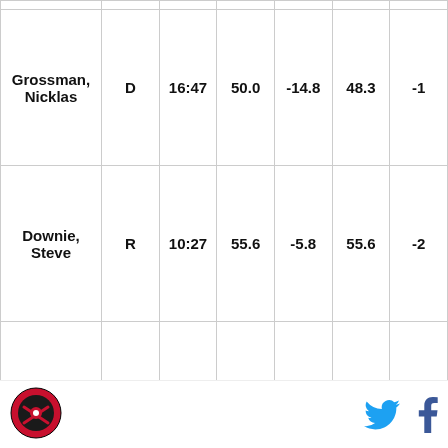| Player | Pos | TOI | CF% | CF% Rel | FF% | FF% Rel |
| --- | --- | --- | --- | --- | --- | --- |
| Grossman, Nicklas | D | 16:47 | 50.0 | -14.8 | 48.3 | -1 |
| Downie, Steve | R | 10:27 | 55.6 | -5.8 | 55.6 | -2 |
| Schenn, Brayden | C | 12:16 | 53.3 | -9.6 | 51.7 | -8 |
| Raffl, Michael | L | 08:27 | 50.0 | -10.8 | 50.0 | -8 |
| Couturier, Sean | C | 17:08 | 64.0 | 6.4 | 64.0 | 9 |